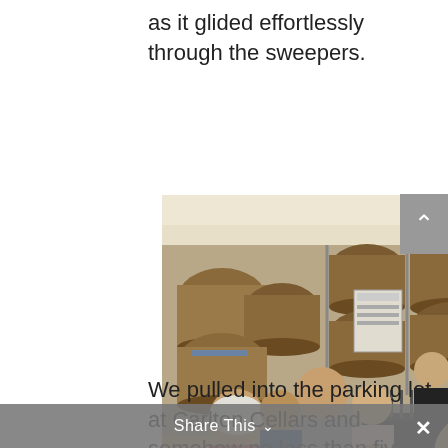as it glided effortlessly through the sweepers.
[Figure (photo): Interior of Carlton Cellars winery with large wooden barrels stacked on racks in the background. Multiple people are standing at a tasting bar in the foreground. A man in a white t-shirt with PROG on the back faces away from the camera.]
We pulled into the parking lot at Carlton Cellars and somehow no less than five